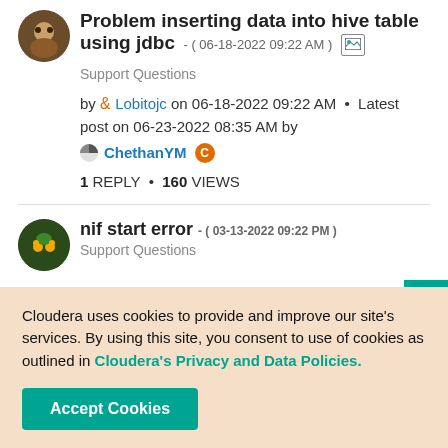Problem inserting data into hive table using jdbc - ( 06-18-2022 09:22 AM )
Support Questions
by Lobitojc on 06-18-2022 09:22 AM • Latest post on 06-23-2022 08:35 AM by ChethanYM
1 REPLY * 160 VIEWS
nif start error - ( 03-13-2022 09:22 PM )
Support Questions
Cloudera uses cookies to provide and improve our site's services. By using this site, you consent to use of cookies as outlined in Cloudera's Privacy and Data Policies.
Accept Cookies